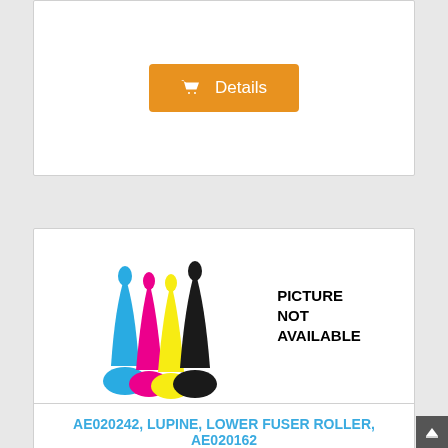[Figure (other): Orange Details button with shopping cart icon]
[Figure (illustration): CMYK toner/ink droplet illustration with text PICTURE NOT AVAILABLE]
AE020242, LUPINE, LOWER FUSER ROLLER, AE020162